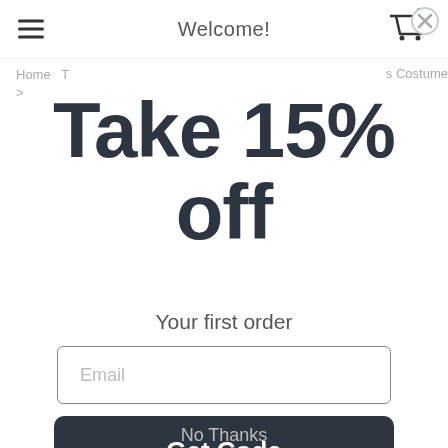Welcome!
Home  T  >  s Costume
Take 15% off
Your first order
Email
Get Code
No Thanks